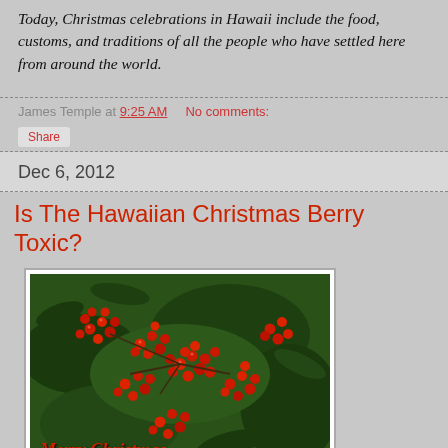Today, Christmas celebrations in Hawaii include the food, customs, and traditions of all the people who have settled here from around the world.
James Temple at 9:25 AM   No comments:
Share
Dec 6, 2012
Is The Hawaiian Christmas Berry Toxic?
[Figure (photo): Photo of Hawaiian Christmas Berry plant with clusters of red berries and dark green leaves, with 'Merry Christmas' text overlay at the bottom]